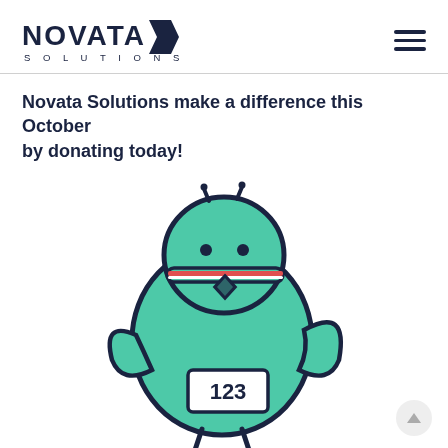NOVATA SOLUTIONS
Novata Solutions make a difference this October by donating today!
[Figure (illustration): Cartoon teal bird character wearing a pink/red athletic headband and a race bib numbered 123, styled as a marathon runner mascot with small legs and a wing.]